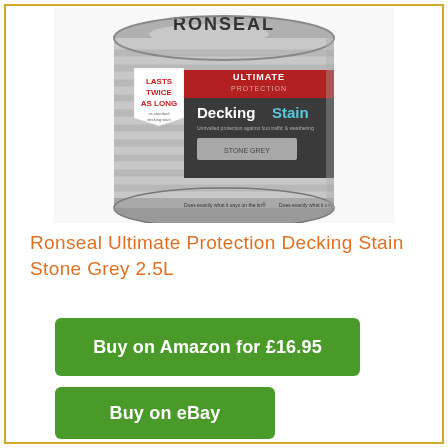[Figure (photo): Ronseal Ultimate Protection Decking Stain tin in Stone Grey 2.5L, showing label with 'Lasts Twice As Long' badge, silver/grey decking slat background, ULTIMATE PROTECTION branding in red/dark band, 'Decking Stain' text, 'Unrivalled protection against foot traffic & weathering', and a Stone Grey colour swatch at the bottom.]
Ronseal Ultimate Protection Decking Stain Stone Grey 2.5L
Buy on Amazon for £16.95
Buy on eBay